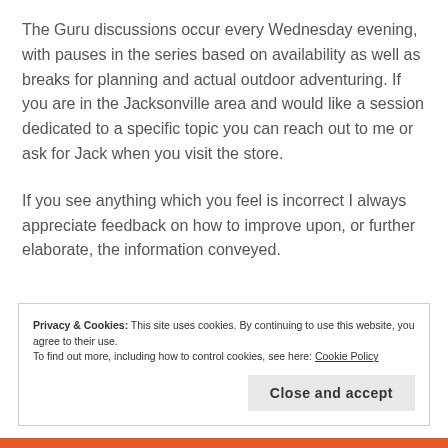The Guru discussions occur every Wednesday evening, with pauses in the series based on availability as well as breaks for planning and actual outdoor adventuring. If you are in the Jacksonville area and would like a session dedicated to a specific topic you can reach out to me or ask for Jack when you visit the store.
If you see anything which you feel is incorrect I always appreciate feedback on how to improve upon, or further elaborate, the information conveyed.
Privacy & Cookies: This site uses cookies. By continuing to use this website, you agree to their use.
To find out more, including how to control cookies, see here: Cookie Policy
Close and accept